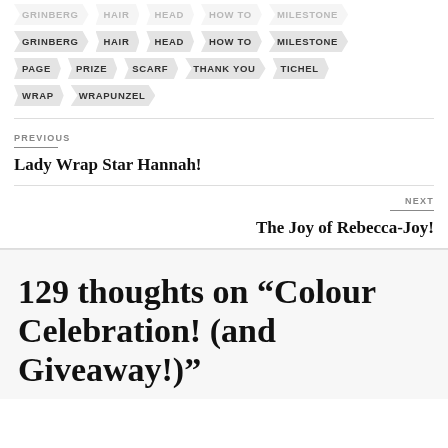GRINBERG HAIR HEAD HOW TO MILESTONE PAGE PRIZE SCARF THANK YOU TICHEL WRAP WRAPUNZEL
PREVIOUS
Lady Wrap Star Hannah!
NEXT
The Joy of Rebecca-Joy!
129 thoughts on “Colour Celebration! (and Giveaway!)”